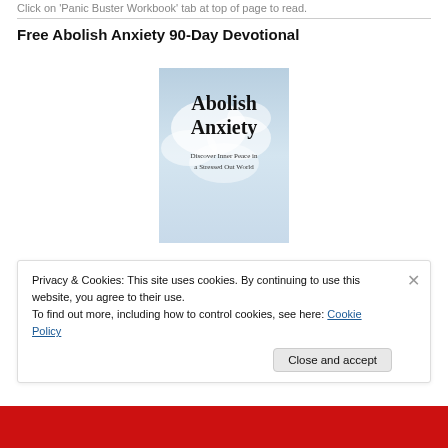Click on 'Panic Buster Workbook' tab at top of page to read.
Free Abolish Anxiety 90-Day Devotional
[Figure (illustration): Book cover for 'Abolish Anxiety: Discover Inner Peace in a Stressed Out World' with cloudy blue sky background and large serif text.]
Privacy & Cookies: This site uses cookies. By continuing to use this website, you agree to their use.
To find out more, including how to control cookies, see here: Cookie Policy
Close and accept